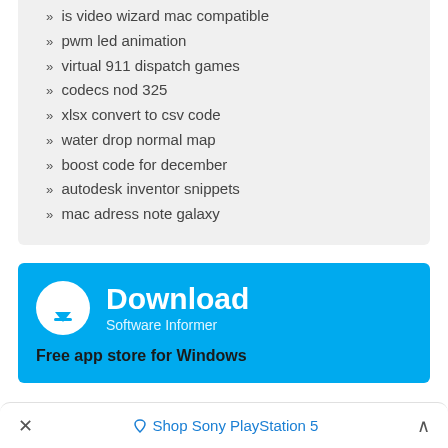» is video wizard mac compatible
» pwm led animation
» virtual 911 dispatch games
» codecs nod 325
» xlsx convert to csv code
» water drop normal map
» boost code for december
» autodesk inventor snippets
» mac adress note galaxy
[Figure (infographic): Blue Download banner with white download icon circle, large white 'Download' text, 'Software Informer' subtitle, and 'Free app store for Windows' tagline]
× ♦ Shop Sony PlayStation 5 ^